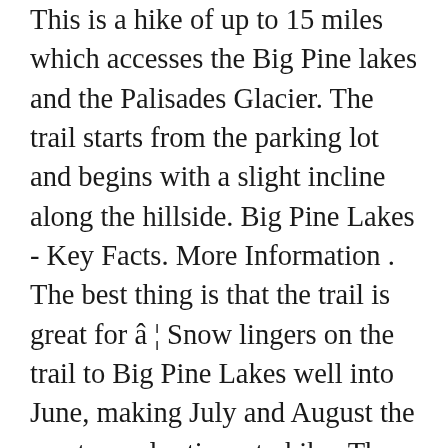This is a hike of up to 15 miles which accesses the Big Pine lakes and the Palisades Glacier. The trail starts from the parking lot and begins with a slight incline along the hillside. Big Pine Lakes - Key Facts. More Information . The best thing is that the trail is great for â ¦ Snow lingers on the trail to Big Pine Lakes well into June, making July and August the most popular times to hike. The trail takes hikers to Lakes 1 through 7. Roads and trails explore a wide variety of terrain and life zones. The Champion Lodgepole Pine Trail is a must-see on your trip to Big Bear. Location: John Muir Wilderness, Inyo County, 10 miles west of Big Pine, 15 miles south of Bishop. If you're looking for a post-ride beer or some food, be sure to checkout